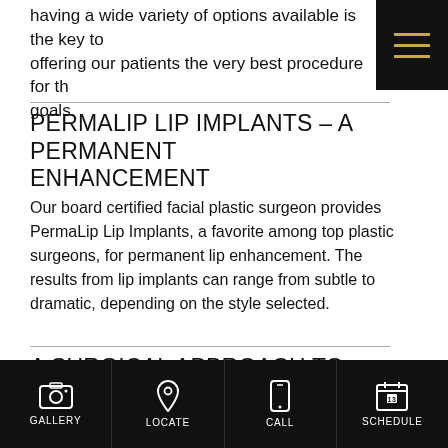having a wide variety of options available is the key to offering our patients the very best procedure for their goals.
PERMALIP LIP IMPLANTS – A PERMANENT ENHANCEMENT
Our board certified facial plastic surgeon provides PermaLip Lip Implants, a favorite among top plastic surgeons, for permanent lip enhancement. The results from lip implants can range from subtle to dramatic, depending on the style selected.
A SURGICAL APPROACH TO REJUVENATION AROUND THE LIPS
For those with deep occurring lines, ideal lip by
GALLERY   LOCATE   CALL   SCHEDULE